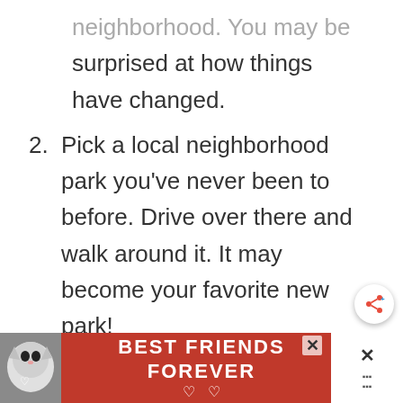neighborhood. You may be surprised at how things have changed.
2. Pick a local neighborhood park you've never been to before. Drive over there and walk around it. It may become your favorite new park!
3. Drive across town and pick a park to visit. You
[Figure (photo): Advertisement banner with two cats and text 'BEST FRIENDS FOREVER' with hearts on a red background]